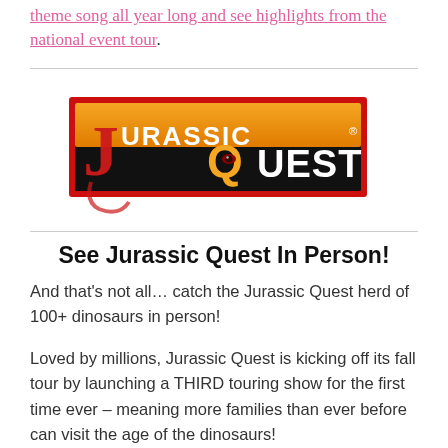theme song all year long and see highlights from the national event tour.
[Figure (logo): Jurassic Quest logo — black and orange/red gradient background with stylized text 'Jurassic Quest' and a dinosaur eye visible in the Q]
See Jurassic Quest In Person!
And that's not all... catch the Jurassic Quest herd of 100+ dinosaurs in person!
Loved by millions, Jurassic Quest is kicking off its fall tour by launching a THIRD touring show for the first time ever – meaning more families than ever before can visit the age of the dinosaurs!